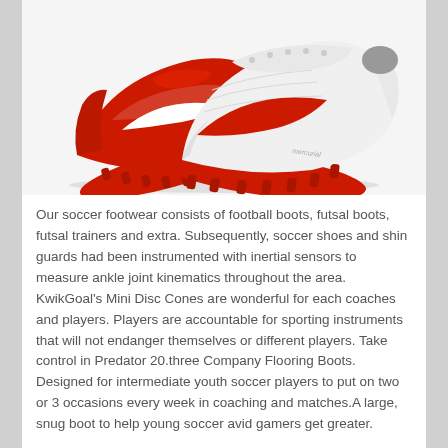[Figure (photo): Two red and white Nike Mercurial football boots/cleats arranged on a white background, showing the soleplate with red studs and the white upper with a red Nike swoosh.]
Our soccer footwear consists of football boots, futsal boots, futsal trainers and extra. Subsequently, soccer shoes and shin guards had been instrumented with inertial sensors to measure ankle joint kinematics throughout the area. KwikGoal's Mini Disc Cones are wonderful for each coaches and players. Players are accountable for sporting instruments that will not endanger themselves or different players. Take control in Predator 20.three Company Flooring Boots. Designed for intermediate youth soccer players to put on two or 3 occasions every week in coaching and matches.A large, snug boot to help young soccer avid gamers get greater.